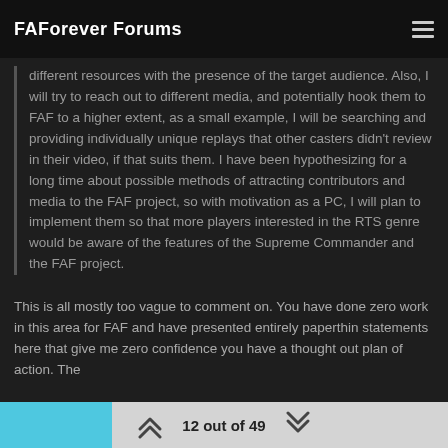FAForever Forums
different resources with the presence of the target audience. Also, I will try to reach out to different media, and potentially hook them to FAF to a higher extent, as a small example, I will be searching and providing individually unique replays that other casters didn't review in their video, if that suits them. I have been hypothesizing for a long time about possible methods of attracting contributors and media to the FAF project, so with motivation as a PC, I will plan to implement them so that more players interested in the RTS genre would be aware of the features of the Supreme Commander and the FAF project.
This is all mostly too vague to comment on. You have done zero work in this area for FAF and have presented entirely paperthin statements here that give me zero confidence you have a thought out plan of action. The
12 out of 49